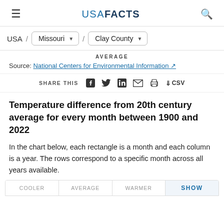USA FACTS
USA / Missouri / Clay County
AVERAGE
Source: National Centers for Environmental Information
SHARE THIS
Temperature difference from 20th century average for every month between 1900 and 2022
In the chart below, each rectangle is a month and each column is a year. The rows correspond to a specific month across all years available.
|  |  |  | SHOW |
| --- | --- | --- | --- |
| COOLER | AVERAGE | WARMER |  |